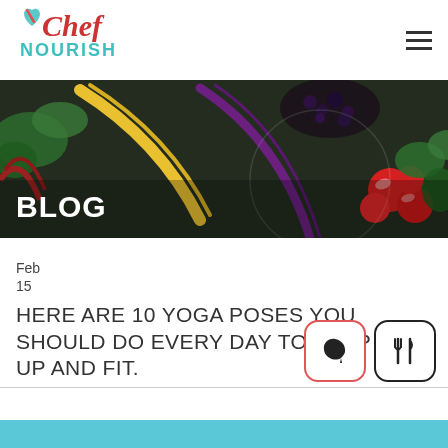[Figure (logo): Chef Nourish logo with teal heart and red cursive Chef text, teal NOURISH text below]
[Figure (photo): Dark overhead food photography showing colorful vegetables including radishes, yellow pepper, purple carrot, berries and green herbs on a dark wooden board]
BLOG
Feb
15
HERE ARE 10 YOGA POSES YOU SHOULD DO EVERY DAY TO KEEP YOU UP AND FIT.